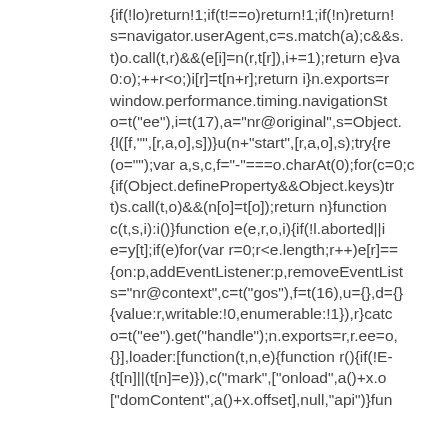{if(!lo)return!1;if(t!==o)return!1;if(!n)return!...
s=navigator.userAgent,c=s.match(a);c&&s....
t)o.call(t,r)&&(e[i]=n(r,t[r]),i+=1);return e}va
0:o);++r<o;)i[r]=t[n+r];return i}n.exports=r
window.performance.timing.navigationSt...
o=t("ee"),i=t(17),a="nr@original",s=Object....
{l([f,"",[r,a,o],s])}u(n+"start",[r,a,o],s);try{re
(o="");var a,s,c,f="-"===o.charAt(0);for(c=0;
{if(Object.defineProperty&&Object.keys)tr
t)s.call(t,o)&&(n[o]=t[o]);return n}function
c(t,s,i):i()}function e(e,r,o,i){if(!l.aborted||i
e=y[t];if(e)for(var r=0;r<e.length;r++)e[r]==
{on:p,addEventListener:p,removeEventList
s="nr@context",c=t("gos"),f=t(16),u={},d={}
{value:r,writable:!0,enumerable:!1}),r}catc
o=t("ee").get("handle");n.exports=r,r.ee=o,
{}],loader:[function(t,n,e){function r(){if(!E-
{t[n]||(t[n]=e)}),c("mark",["onload",a()+x.o
["domContent",a()+x.offset],null,"api"){fun